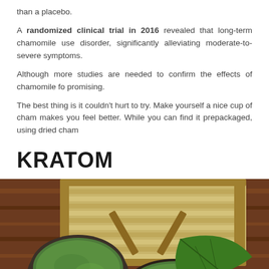than a placebo.
A randomized clinical trial in 2016 revealed that long-term chamomile use disorder, significantly alleviating moderate-to-severe symptoms.
Although more studies are needed to confirm the effects of chamomile fo promising.
The best thing is it couldn't hurt to try. Make yourself a nice cup of cham makes you feel better. While you can find it prepackaged, using dried cham
KRATOM
[Figure (photo): Photo of kratom tea in metal tins with green leaves on a wooden surface, with a bamboo mat/tray in the background]